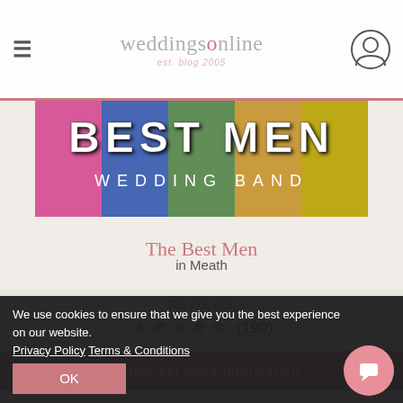weddingsonline
[Figure (photo): Best Men Wedding Band promotional banner with colorful powder paint and large text reading BEST MEN WEDDING BAND]
The Best Men
in Meath
REVIEWS ★★★★★ (190)
✉ Request more information
We use cookies to ensure that we give you the best experience on our website. Privacy Policy   Terms & Conditions   OK